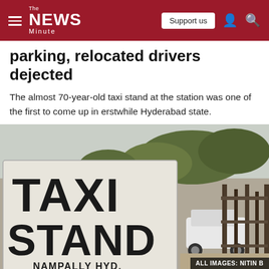The News Minute
parking, relocated drivers dejected
The almost 70-year-old taxi stand at the station was one of the first to come up in erstwhile Hyderabad state.
[Figure (photo): Close-up of a 'TAXI STAND NAMPALLY HYD.' sign with Urdu script below, with a car and gate visible in the background.]
ALL IMAGES: NITIN B